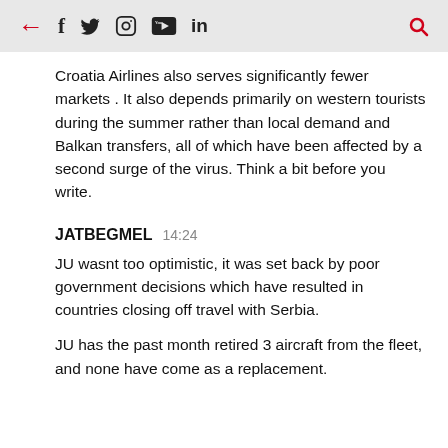← f 𝕏 ○ ▶ in 🔍
Croatia Airlines also serves significantly fewer markets . It also depends primarily on western tourists during the summer rather than local demand and Balkan transfers, all of which have been affected by a second surge of the virus. Think a bit before you write.
JATBEGMEL  14:24
JU wasnt too optimistic, it was set back by poor government decisions which have resulted in countries closing off travel with Serbia.
JU has the past month retired 3 aircraft from the fleet, and none have come as a replacement.